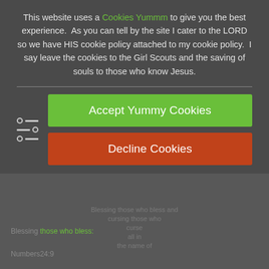This website uses a Cookies Yummm to give you the best experience.  As you can tell by the site I cater to the LORD so we have HIS cookie policy attached to my cookie policy.  I say leave the cookies to the Girl Scouts and the saving of souls to those who know Jesus.
[Figure (other): Settings/filter icon with three horizontal slider bars]
Accept Yummy Cookies
Decline Cookies
Blessing those who bless:
Numbers24:9